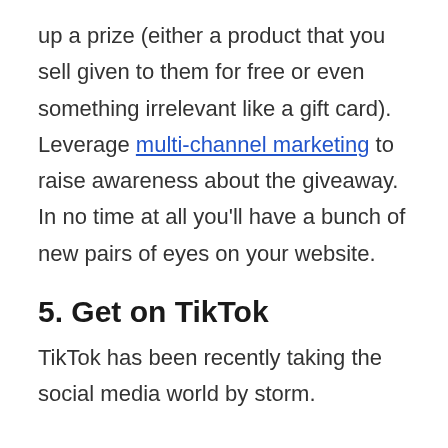up a prize (either a product that you sell given to them for free or even something irrelevant like a gift card). Leverage multi-channel marketing to raise awareness about the giveaway. In no time at all you'll have a bunch of new pairs of eyes on your website.
5. Get on TikTok
TikTok has been recently taking the social media world by storm.